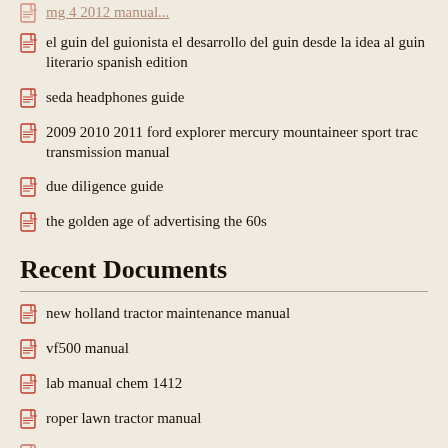el guin del guionista el desarrollo del guin desde la idea al guin literario spanish edition
seda headphones guide
2009 2010 2011 ford explorer mercury mountaineer sport trac transmission manual
due diligence guide
the golden age of advertising the 60s
Recent Documents
new holland tractor maintenance manual
vf500 manual
lab manual chem 1412
roper lawn tractor manual
ima direct manual new york